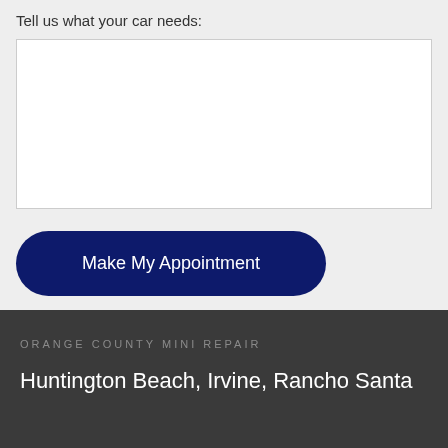Tell us what your car needs:
[Figure (other): Empty white textarea input box for user to enter car service needs]
Make My Appointment
ORANGE COUNTY MINI REPAIR
Huntington Beach, Irvine, Rancho Santa